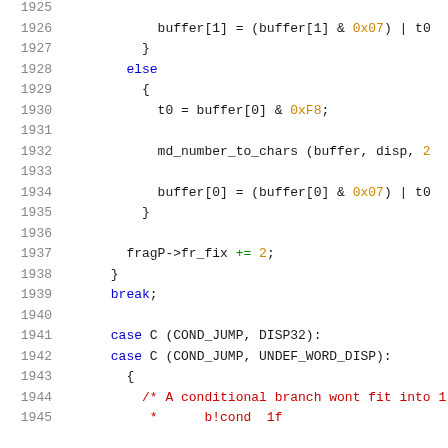Source code listing, lines 1925-1945, C programming language with syntax highlighting
1925  (blank)
1926      buffer[1] = (buffer[1] & 0x07) | t0
1927      }
1928      else
1929        {
1930          t0 = buffer[0] & 0xF8;
1931  (blank)
1932          md_number_to_chars (buffer, disp, 2
1933  (blank)
1934          buffer[0] = (buffer[0] & 0x07) | t0
1935        }
1936  (blank)
1937        fragP->fr_fix += 2;
1938      }
1939      break;
1940  (blank)
1941      case C (COND_JUMP, DISP32):
1942      case C (COND_JUMP, UNDEF_WORD_DISP):
1943        {
1944          /* A conditional branch wont fit into 1
1945           *      b!cond  1f